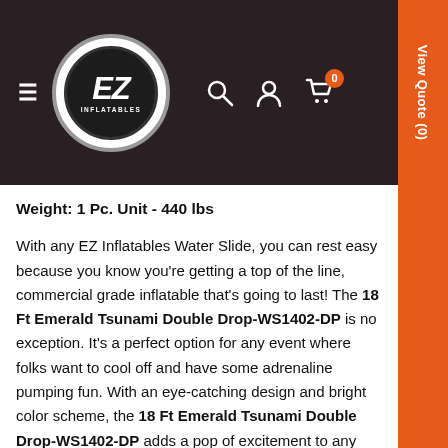[Figure (logo): EZ Inflatables logo — circular logo with dark background, 'EZ' in large italic white text and 'INFLATABLES' text below, surrounded by a grey-bordered white circle]
Weight: 1 Pc. Unit - 440 lbs
With any EZ Inflatables Water Slide, you can rest easy because you know you're getting a top of the line, commercial grade inflatable that's going to last! The 18 Ft Emerald Tsunami Double Drop-WS1402-DP is no exception. It's a perfect option for any event where folks want to cool off and have some adrenaline pumping fun. With an eye-catching design and bright color scheme, the 18 Ft Emerald Tsunami Double Drop-WS1402-DP adds a pop of excitement to any event.
18 Ft Tsunami Water Slide Single Lane EZ Inflatables Water Slide. It's a perfect option for any event where folks want to cool off and have some adrenaline pumping fun. Includes stakes, transportation